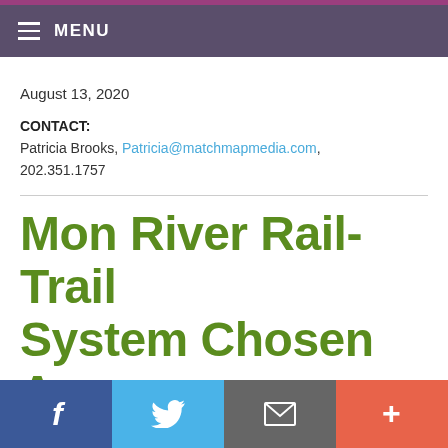MENU
August 13, 2020
CONTACT:
Patricia Brooks, Patricia@matchmapmedia.com, 202.351.1757
Mon River Rail-Trail System Chosen As Rails-to-Trails